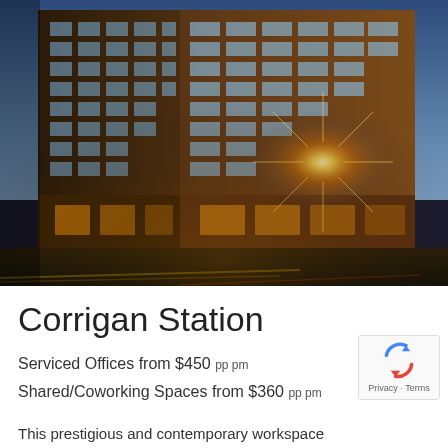[Figure (photo): Night/dusk exterior photo of Corrigan Station, a large multi-story brick commercial building with large industrial windows, illuminated with warm lights at street level and along upper floors. Taken from a corner perspective with light trails from traffic in the foreground and a dark blue sky.]
Corrigan Station
Serviced Offices from $450 pp pm
Shared/Coworking Spaces from $360 pp pm
This prestigious and contemporary workspace center is